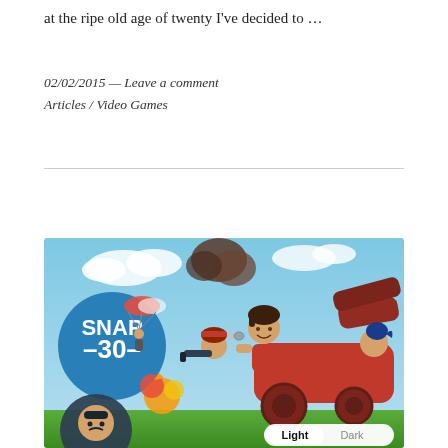at the ripe old age of twenty I've decided to …
02/02/2015 — Leave a comment
Articles / Video Games
[Figure (illustration): Colorful anime/cartoon-style video game artwork showing characters on a tank with a large cannon, a blue circle badge with 'SNAP -30-' text, explosion effects, parachuting soldier, and other game characters against a blue sky background. Light/Dark theme toggle buttons visible in bottom right corner.]